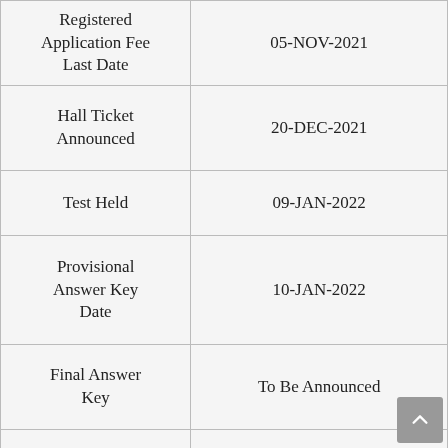| Event | Date |
| --- | --- |
| Registered Application Fee Last Date | 05-NOV-2021 |
| Hall Ticket Announced | 20-DEC-2021 |
| Test Held | 09-JAN-2022 |
| Provisional Answer Key Date | 10-JAN-2022 |
| Final Answer Key | To Be Announced |
| Result Date | To Be Announced |